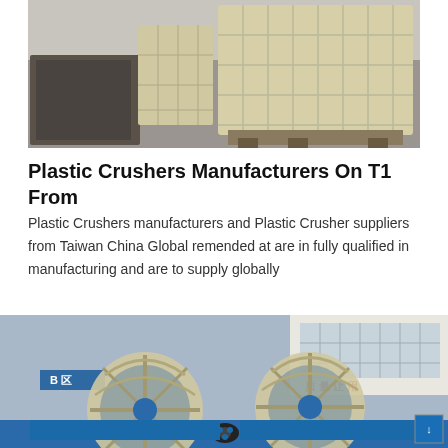[Figure (photo): Photo of industrial plastic crusher machine components or panels stored in a warehouse/factory floor, showing beige/cream colored plastic grid panels on pallets.]
Plastic Crushers Manufacturers On T1 From
Plastic Crushers manufacturers and Plastic Crusher suppliers from Taiwan China Global remended at are in fully qualified in manufacturing and are to supply globally
[Figure (photo): Photo of large industrial sand washing machines with large wheel/fan-shaped structures, blue frames, set in front of a factory building with Chinese text (质量让用, B区) visible.]